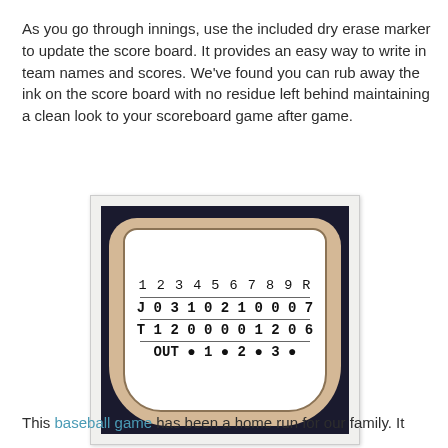As you go through innings, use the included dry erase marker to update the score board. It provides an easy way to write in team names and scores. We've found you can rub away the ink on the score board with no residue left behind maintaining a clean look to your scoreboard game after game.
[Figure (photo): A wooden baseball scoreboard with a dry-erase white surface showing innings 1-9 and R columns. Row J shows 0 3 1 0 2 1 0 0 0 7, Row T shows 1 2 0 0 0 0 1 2 0 6, and an OUT row at bottom showing 0 1 0 2 0 3.]
This baseball game has been a home run for our family. It